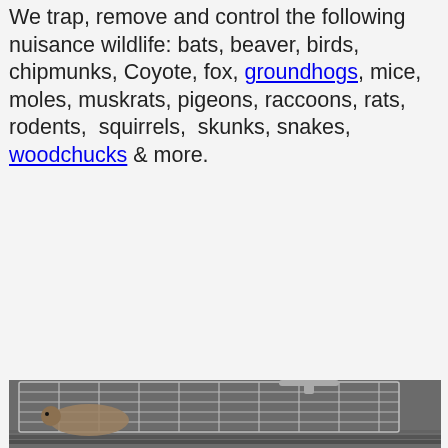We trap, remove and control the following nuisance wildlife: bats, beaver, birds, chipmunks, Coyote, fox, groundhogs, mice, moles, muskrats, pigeons, raccoons, rats, rodents, squirrels, skunks, snakes, woodchucks & more.
[Figure (photo): A squirrel inside a wire live animal trap, photographed in the bed of a pickup truck. The trap is metal wire mesh with a handle on top. The squirrel is visible through the wire bars.]